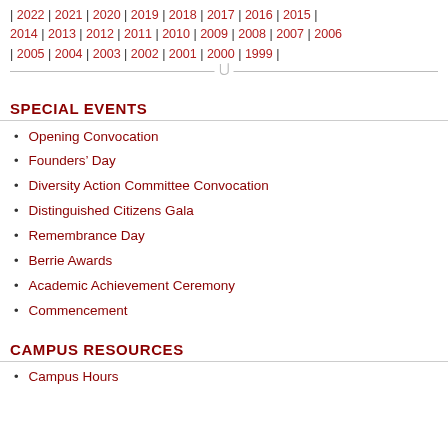| 2022 | 2021 | 2020 | 2019 | 2018 | 2017 | 2016 | 2015 | 2014 | 2013 | 2012 | 2011 | 2010 | 2009 | 2008 | 2007 | 2006 | 2005 | 2004 | 2003 | 2002 | 2001 | 2000 | 1999 |
SPECIAL EVENTS
Opening Convocation
Founders' Day
Diversity Action Committee Convocation
Distinguished Citizens Gala
Remembrance Day
Berrie Awards
Academic Achievement Ceremony
Commencement
CAMPUS RESOURCES
Campus Hours